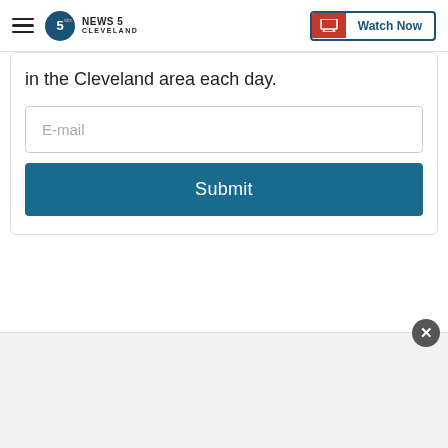NEWS 5 CLEVELAND — Watch Now
in the Cleveland area each day.
E-mail
Submit
CURATION BY
[Figure (photo): Woman smiling in kitchen setting with brick wall background]
Ageless Actress: How I Found The Energy to Keep Fighting
www2.energeticallday.com